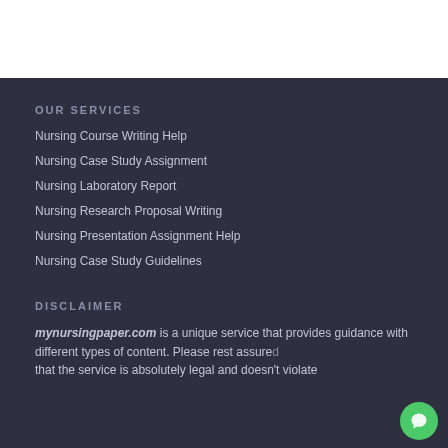OUR SERVICES
Nursing Course Writing Help
Nursing Case Study Assignment
Nursing Laboratory Report
Nursing Research Proposal Writing
Nursing Presentation Assignment Help
Nursing Case Study Guidelines
DISCLAIMER
mynursingpaper.com is a unique service that provides guidance with different types of content. Please rest assured that the service is absolutely legal and doesn't violate